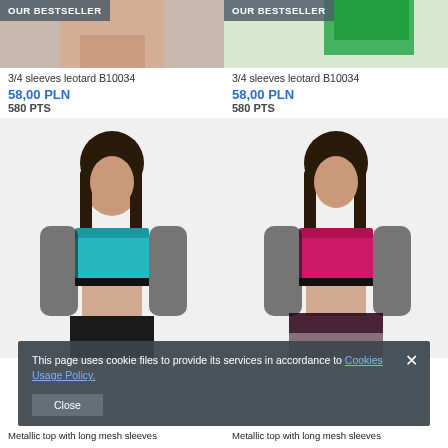[Figure (photo): Top portion of model wearing leotard, with 'OUR BESTSELLER' badge, left column]
3/4 sleeves leotard B10034
58,00 PLN
580 PTS
[Figure (photo): Top portion of model wearing leotard, with 'OUR BESTSELLER' badge, right column]
3/4 sleeves leotard B10034
58,00 PLN
580 PTS
[Figure (photo): Model wearing metallic teal crop top with long mesh sleeves, left column]
[Figure (photo): Model wearing metallic pink/red crop top with long mesh sleeves, right column]
This page uses cookie files to provide its services in accordance to Cookies Usage Policy.
Close
Metallic top with long mesh sleeves
Metallic top with long mesh sleeves